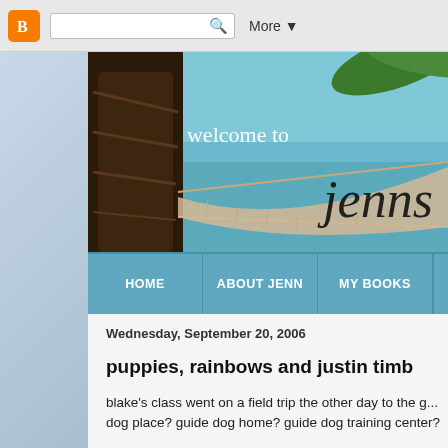[Figure (screenshot): Blogger browser chrome bar with orange Blogger icon, search bar, and More dropdown]
[Figure (photo): Blog header image showing a tropical beach scene with a palm tree, hammock, turquoise water, and text 'welcome to jenns']
[Figure (screenshot): Navigation menu bar with teal/blue background showing Home, About Jenn, My Books tabs]
Wednesday, September 20, 2006
puppies, rainbows and justin timb
blake's class went on a field trip the other day to the g... dog place? guide dog home? guide dog training center?